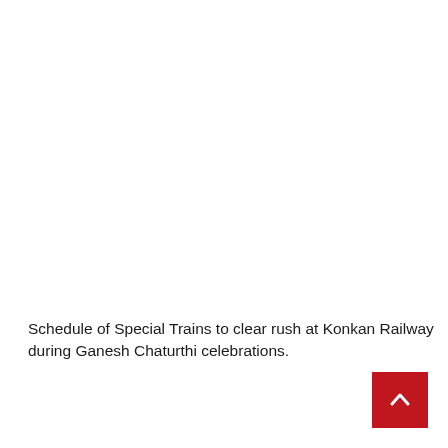Schedule of Special Trains to clear rush at Konkan Railway during Ganesh Chaturthi celebrations.
[Figure (other): Red 'back to top' button with white upward-pointing chevron arrow]